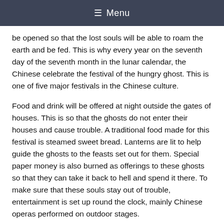≡ Menu
be opened so that the lost souls will be able to roam the earth and be fed. This is why every year on the seventh day of the seventh month in the lunar calendar, the Chinese celebrate the festival of the hungry ghost. This is one of five major festivals in the Chinese culture.
Food and drink will be offered at night outside the gates of houses. This is so that the ghosts do not enter their houses and cause trouble. A traditional food made for this festival is steamed sweet bread. Lanterns are lit to help guide the ghosts to the feasts set out for them. Special paper money is also burned as offerings to these ghosts so that they can take it back to hell and spend it there. To make sure that these souls stay out of trouble, entertainment is set up round the clock, mainly Chinese operas performed on outdoor stages.